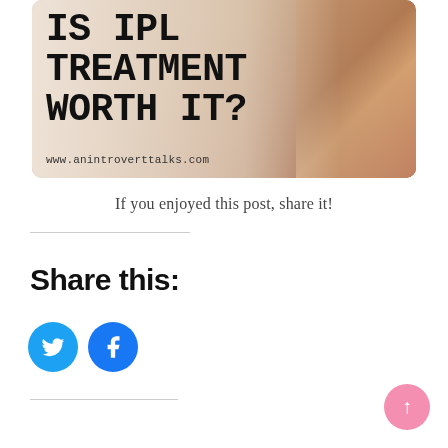[Figure (illustration): Blog post thumbnail image with text 'IS IPL TREATMENT WORTH IT?' in bold monospace font on a beige/skin-tone background with URL www.anintroverttalks.com at the bottom, and a skin/arm texture visible on the right side]
If you enjoyed this post, share it!
Share this:
[Figure (other): Twitter (bird) icon in a cyan/blue circle and Facebook icon in a blue circle, side by side as social share buttons]